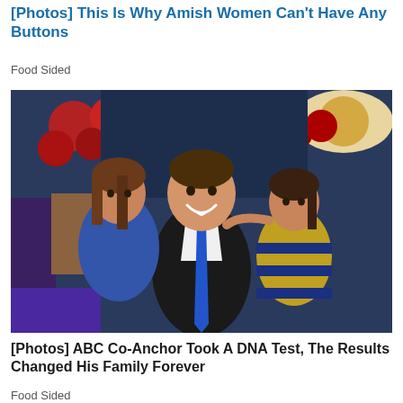[Photos] This Is Why Amish Women Can't Have Any Buttons
Food Sided
[Figure (photo): A man in a suit with a blue tie smiling, posing with two young girls, one on each side, in front of a colorful food-themed background.]
[Photos] ABC Co-Anchor Took A DNA Test, The Results Changed His Family Forever
Food Sided